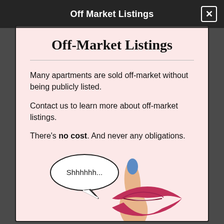Off Market Listings
Off-Market Listings
Many apartments are sold off-market without being publicly listed.
Contact us to learn more about off-market listings.
There's no cost. And never any obligations.
[Figure (illustration): Illustration of a hand with a blue fingernail pressing a finger to red lips in a shushing gesture, with a speech bubble saying 'Shhhhhh...']